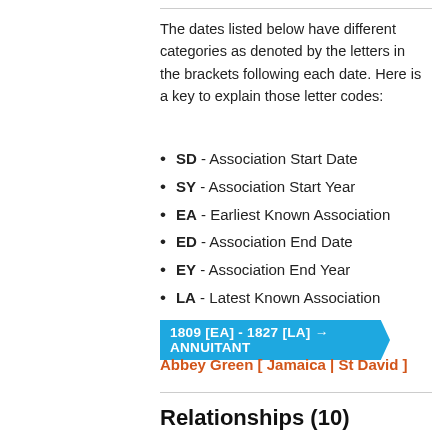The dates listed below have different categories as denoted by the letters in the brackets following each date. Here is a key to explain those letter codes:
SD - Association Start Date
SY - Association Start Year
EA - Earliest Known Association
ED - Association End Date
EY - Association End Year
LA - Latest Known Association
1809 [EA] - 1827 [LA] → ANNUITANT
Abbey Green [ Jamaica | St David ]
Relationships (10)